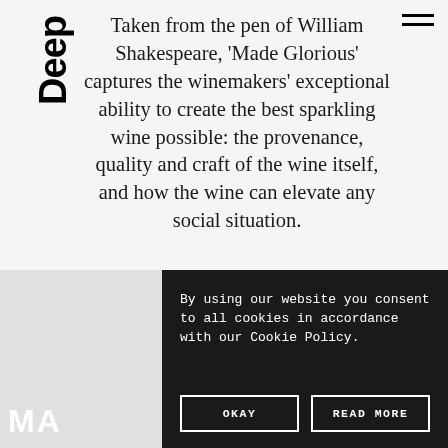Deep
Taken from the pen of William Shakespeare, ‘Made Glorious’ captures the winemakers’ exceptional ability to create the best sparkling wine possible: the provenance, quality and craft of the wine itself, and how the wine can elevate any social situation.
[Figure (screenshot): Cookie consent overlay on dark background with two buttons: OKAY and READ MORE]
By using our website you consent to all cookies in accordance with our Cookie Policy.